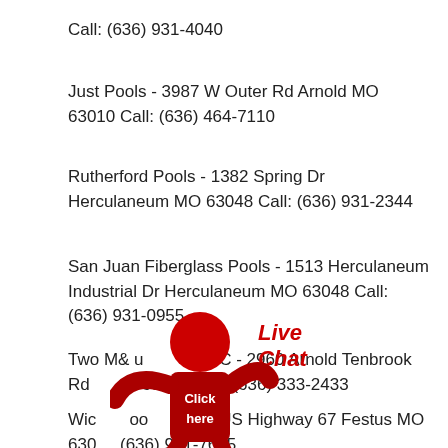Call: (636) 931-4040
Just Pools - 3987 W Outer Rd Arnold MO 63010 Call: (636) 464-7110
Rutherford Pools - 1382 Spring Dr Herculaneum MO 63048 Call: (636) 931-2344
San Juan Fiberglass Pools - 1513 Herculaneum Industrial Dr Herculaneum MO 63048 Call: (636) 931-0955
Two M & u, LLC - 2960 Arnold Tenbrook Rd Arnold MO 63010 Call: (636) 333-2433
Wic oo - 2565 US Highway 67 Festus MO 630... (636) 931-7665
[Figure (illustration): A red stick figure with arms outstretched, torso says 'Click here', with a 'Live Chat' text in red handwriting font above/next to it — a live chat widget overlay]